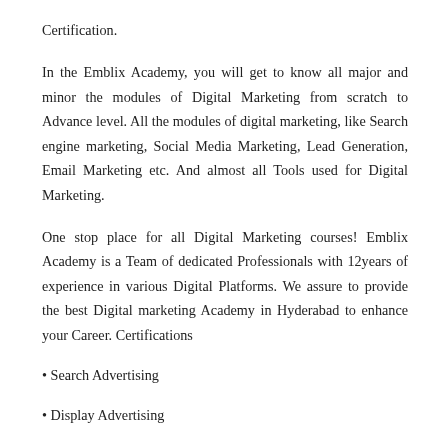Certification.
In the Emblix Academy, you will get to know all major and minor the modules of Digital Marketing from scratch to Advance level. All the modules of digital marketing, like Search engine marketing, Social Media Marketing, Lead Generation, Email Marketing etc. And almost all Tools used for Digital Marketing.
One stop place for all Digital Marketing courses! Emblix Academy is a Team of dedicated Professionals with 12years of experience in various Digital Platforms. We assure to provide the best Digital marketing Academy in Hyderabad to enhance your Career. Certifications
• Search Advertising
• Display Advertising